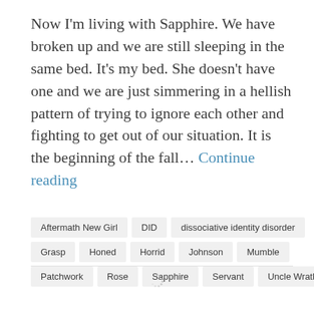Now I'm living with Sapphire. We have broken up and we are still sleeping in the same bed. It's my bed. She doesn't have one and we are just simmering in a hellish pattern of trying to ignore each other and fighting to get out of our situation. It is the beginning of the fall… Continue reading
Aftermath New Girl
DID
dissociative identity disorder
Grasp
Honed
Horrid
Johnson
Mumble
Patchwork
Rose
Sapphire
Servant
Uncle Wrath